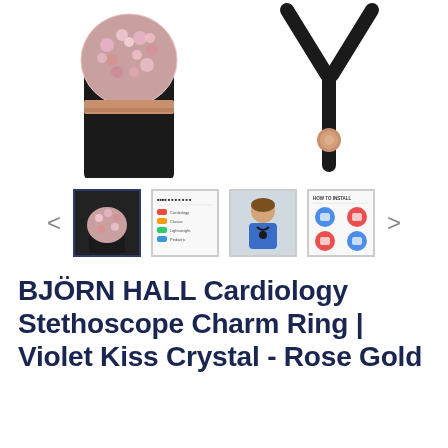[Figure (photo): Two product photos: left shows a stethoscope diaphragm head with pink/rose crystal charm ring on black cylinder background; right shows a Y-shaped stethoscope tubing connector with a small rose gold crystal charm, black tubing, white background.]
[Figure (photo): Thumbnail carousel showing 4 product images with left/right navigation arrows. First thumbnail (selected, highlighted border) shows close-up of pink crystal charm on stethoscope. Second shows product spec/comparison chart with colored stethoscopes. Third shows nurse/doctor wearing stethoscope. Fourth shows how-to-install illustrated instructions.]
BJÖRN HALL Cardiology Stethoscope Charm Ring | Violet Kiss Crystal - Rose Gold